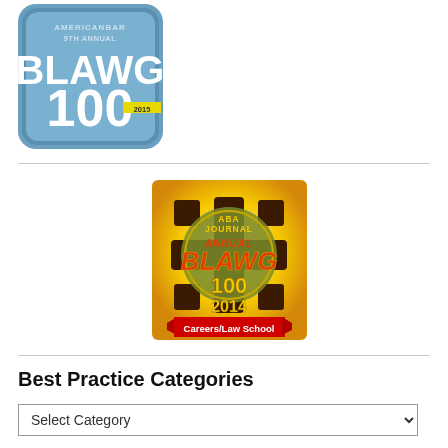[Figure (logo): ABA Journal 9th Annual Blawg 100 2015 badge — blue rounded-square badge with BLAWG 100 text and yellow accent bar]
[Figure (logo): ABA Journal Annual Blawg 100 2014 Careers/Law School badge — gold/orange badge with decorative emblem style, red ribbon reading Careers/Law School]
Best Practice Categories
Select Category